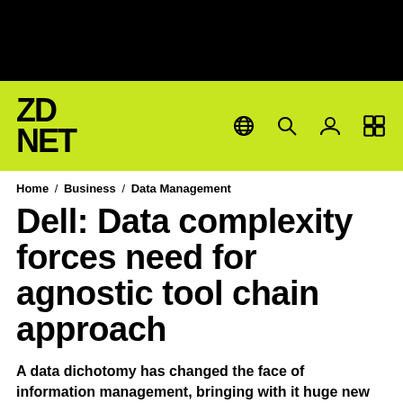[Figure (logo): ZDNet logo in black on lime green navigation bar with globe, search, user, and grid icons]
Home / Business / Data Management
Dell: Data complexity forces need for agnostic tool chain approach
A data dichotomy has changed the face of information management, bringing with it huge new data challenges for businesses to solve,